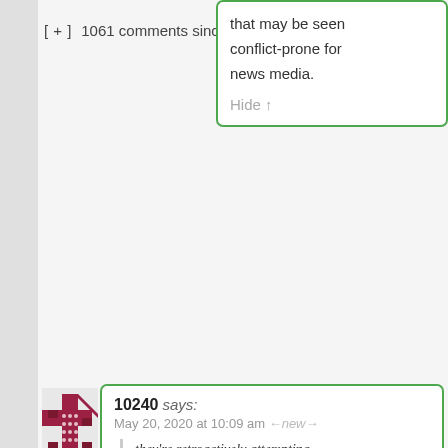[ + ]  1061 comments since  1970-01-01 00:0
that may be seen conflict-prone for news media.
Hide ↑
[Figure (illustration): User avatar icon — red/maroon geometric cross/shuriken pattern on white background]
10240 says:
May 20, 2020 at 10:09 am ←new→
they're retroactively attempting to change the past for their own benefit
Only if there is an (implicit or explicit) c promise that the old articles are not cha deleted, or that all changes in the new of the book are explicitly mentioned. I c think there is such an expectation with